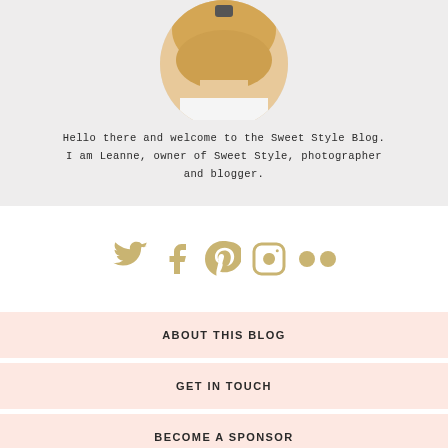[Figure (photo): Circular profile photo of a woman with blonde hair wearing a white top]
Hello there and welcome to the Sweet Style Blog. I am Leanne, owner of Sweet Style, photographer and blogger.
[Figure (infographic): Row of gold social media icons: Twitter, Facebook, Pinterest, Instagram, Flickr]
ABOUT THIS BLOG
GET IN TOUCH
BECOME A SPONSOR